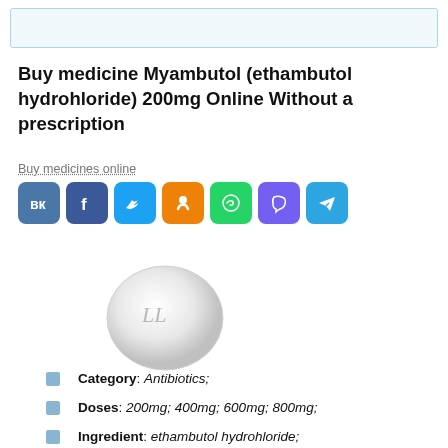[Figure (other): Light blue banner/header box at the top of the page]
Buy medicine Myambutol (ethambutol hydrohloride) 200mg Online Without a prescription
Buy medicines online
[Figure (infographic): Social media share buttons: VK (dark blue), Facebook (blue), Twitter (light blue), OK (orange), WhatsApp (green), Viber (purple), Telegram (blue)]
[Figure (photo): A white oval pill/tablet with LL imprint on a light gray background]
Category: Antibiotics;
Doses: 200mg; 400mg; 600mg; 800mg;
Ingredient: ethambutol hydrohloride;